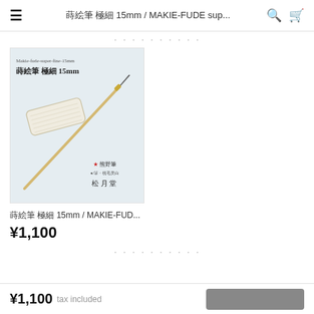蒔絵筆 極細 15mm / MAKIE-FUDE sup...
・・・・・・・・・・
[Figure (photo): Product photo of a makie-fude super fine 15mm brush with Japanese text and Kumano-fude branding, showing the brush resting diagonally on a decorated white prop with 蒔絵筆 極細 15mm label and 松月堂 store branding]
蒔絵筆 極細 15mm / MAKIE-FUD...
¥1,100
・・・・・・・・・・
¥1,100  tax included